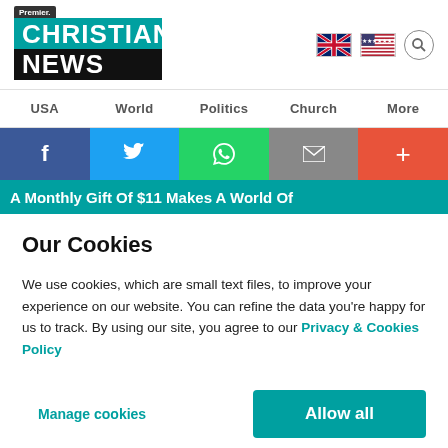Premier. Christian News
USA  World  Politics  Church  More
[Figure (infographic): Social share bar with Facebook, Twitter, WhatsApp, email, and more buttons]
A Monthly Gift Of $11 Makes A World Of
Our Cookies
We use cookies, which are small text files, to improve your experience on our website. You can refine the data you're happy for us to track. By using our site, you agree to our Privacy & Cookies Policy
Manage cookies
Allow all